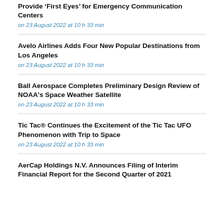Provide ‘First Eyes’ for Emergency Communication Centers
on 23 August 2022 at 10 h 33 min
Avelo Airlines Adds Four New Popular Destinations from Los Angeles
on 23 August 2022 at 10 h 33 min
Ball Aerospace Completes Preliminary Design Review of NOAA's Space Weather Satellite
on 23 August 2022 at 10 h 33 min
Tic Tac® Continues the Excitement of the Tic Tac UFO Phenomenon with Trip to Space
on 23 August 2022 at 10 h 33 min
AerCap Holdings N.V. Announces Filing of Interim Financial Report for the Second Quarter of 2021